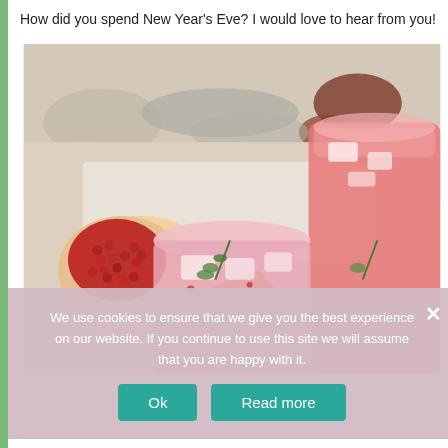How did you spend New Year's Eve? I would love to hear from you!
[Figure (photo): Photo of pomegranate cocktail drinks in glasses with ice and herb garnish, alongside a cut pomegranate and dried fruits on a white surface.]
We use cookies to ensure that we give you the best experience on our website. If you continue to use this site we will assume that you are happy with it.